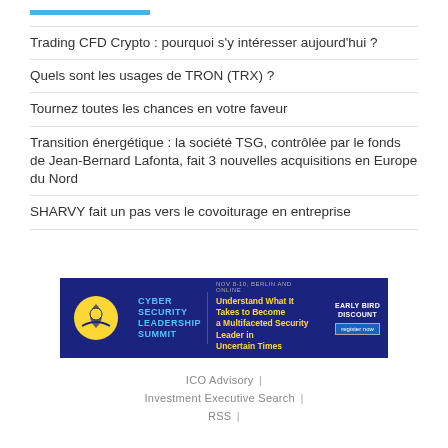Trading CFD Crypto : pourquoi s'y intéresser aujourd'hui ?
Quels sont les usages de TRON (TRX) ?
Tournez toutes les chances en votre faveur
Transition énergétique : la société TSG, contrôlée par le fonds de Jean-Bernard Lafonta, fait 3 nouvelles acquisitions en Europe du Nord
SHARVY fait un pas vers le covoiturage en entreprise
[Figure (other): Cyber Security Leadership Summit advertisement banner. NOV 8-10, BERLIN AND ONLINE. Understand What It Takes to Become a Multifaceted Security Leader in Uncertain Times. EARLY BIRD DISCOUNT. register now.]
ICO Advisory | Investment Executive Search | RSS |